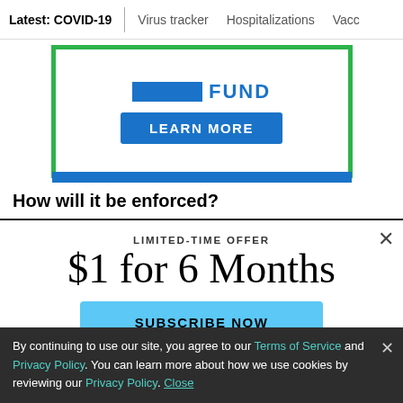Latest: COVID-19 | Virus tracker | Hospitalizations | Vacci
[Figure (illustration): Advertisement banner with green border, blue bar labeled FUND, and a blue LEARN MORE button]
How will it be enforced?
LIMITED-TIME OFFER
$1 for 6 Months
SUBSCRIBE NOW
By continuing to use our site, you agree to our Terms of Service and Privacy Policy. You can learn more about how we use cookies by reviewing our Privacy Policy. Close